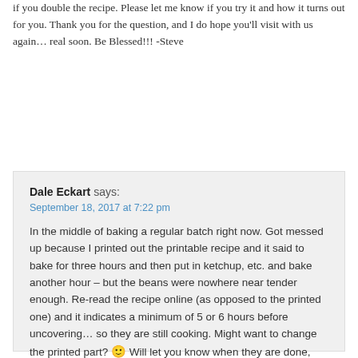if you double the recipe. Please let me know if you try it and how it turns out for you. Thank you for the question, and I do hope you'll visit with us again… real soon. Be Blessed!!! -Steve
reply
Dale Eckart says:
September 18, 2017 at 7:22 pm
In the middle of baking a regular batch right now. Got messed up because I printed out the printable recipe and it said to bake for three hours and then put in ketchup, etc. and bake another hour – but the beans were nowhere near tender enough. Re-read the recipe online (as opposed to the printed one) and it indicates a minimum of 5 or 6 hours before uncovering… so they are still cooking. Might want to change the printed part? 🙂 Will let you know when they are done, seem to have at least an hour and a half or so to go yet…